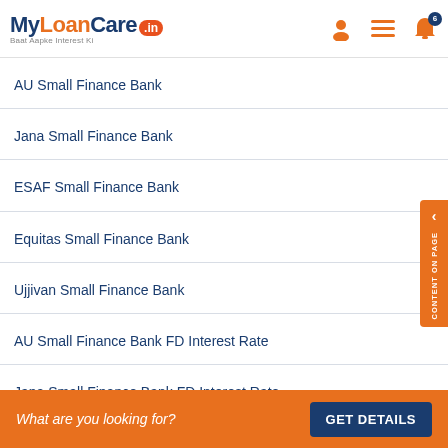MyLoanCare.in — Baat Aapke Interest Ki
AU Small Finance Bank
Jana Small Finance Bank
ESAF Small Finance Bank
Equitas Small Finance Bank
Ujjivan Small Finance Bank
AU Small Finance Bank FD Interest Rate
Jana Small Finance Bank FD Interest Rate
What are you looking for? GET DETAILS